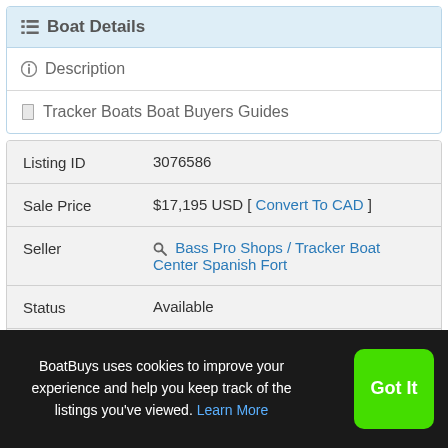Boat Details
Description
Tracker Boats Boat Buyers Guides
| Field | Value |
| --- | --- |
| Listing ID | 3076586 |
| Sale Price | $17,195 USD [ Convert To CAD ] |
| Seller | Bass Pro Shops / Tracker Boat Center Spanish Fort |
| Status | Available |
| Condition | New |
BoatBuys uses cookies to improve your experience and help you keep track of the listings you've viewed. Learn More